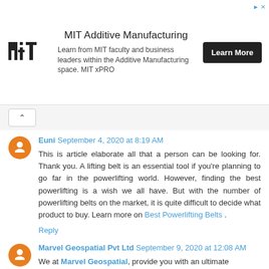[Figure (other): MIT Additive Manufacturing advertisement banner with MIT logo, text 'MIT Additive Manufacturing', 'Learn from MIT faculty and business leaders within the Additive Manufacturing space. MIT xPRO', and a black 'Learn More' button.]
Euni September 4, 2020 at 8:19 AM
This is article elaborate all that a person can be looking for. Thank you. A lifting belt is an essential tool if you're planning to go far in the powerlifting world. However, finding the best powerlifting is a wish we all have. But with the number of powerlifting belts on the market, it is quite difficult to decide what product to buy. Learn more on Best Powerlifting Belts .
Reply
Marvel Geospatial Pvt Ltd September 9, 2020 at 12:08 AM
We at Marvel Geospatial, provide you with an ultimate